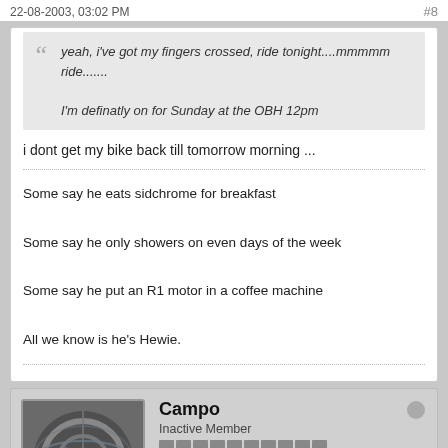22-08-2003, 03:02 PM    #8
yeah, i've got my fingers crossed, ride tonight....mmmmm ride.......

I'm definatly on for Sunday at the OBH 12pm
i dont get my bike back till tomorrow morning ...
Some say he eats sidchrome for breakfast

Some say he only showers on even days of the week

Some say he put an R1 motor in a coffee machine

All we know is he's Hewie.
Campo
Inactive Member
Join Date: 05 2003    Posts: 3128
22-08-2003, 03:06 PM    #9